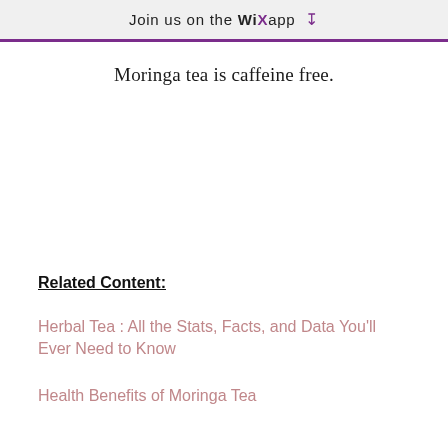Join us on the WiX app ↓
Moringa tea is caffeine free.
Related Content:
Herbal Tea : All the Stats, Facts, and Data You'll Ever Need to Know
Health Benefits of Moringa Tea